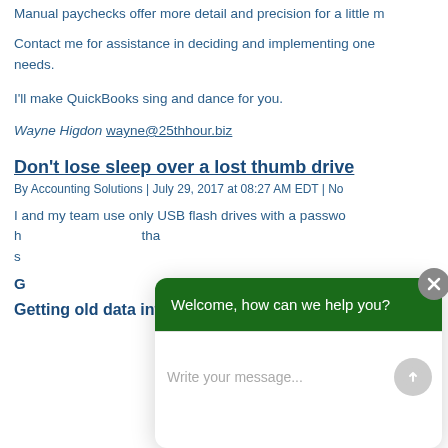Manual paychecks offer more detail and precision for a little m
Contact me for assistance in deciding and implementing one needs.
I'll make QuickBooks sing and dance for you.
Wayne Higdon wayne@25thhour.biz
Don't lose sleep over a lost thumb drive
By Accounting Solutions | July 29, 2017 at 08:27 AM EDT | No
I and my team use only USB flash drives with a passwo h tha s
G B No
Getting old data into a new QBO
[Figure (screenshot): Chat widget overlay with green header 'Welcome, how can we help you?' and white input area with placeholder 'Write your message...' and send button, with a close (X) button in top right corner.]